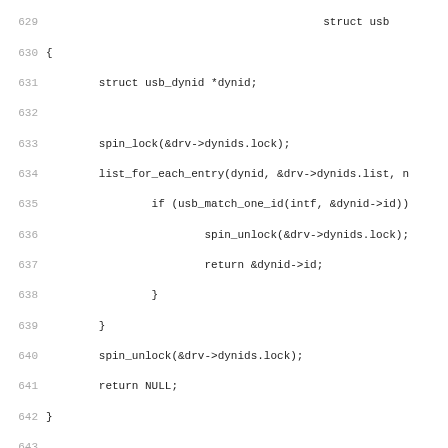[Figure (screenshot): Source code listing in monospace font showing C code for USB driver functions, lines 629-661. Includes match_dynamic_id and get_iface_id functions with spin_lock, list_for_each_entry, usb_match_one_id, spin_unlock calls.]